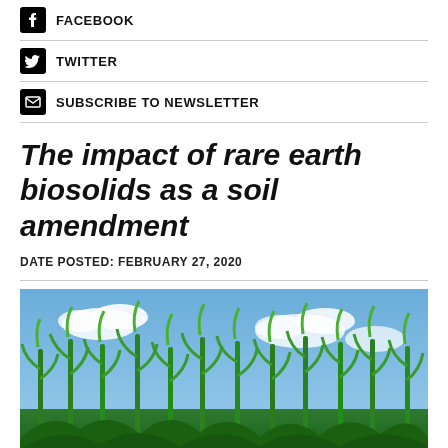FACEBOOK
TWITTER
SUBSCRIBE TO NEWSLETTER
The impact of rare earth biosolids as a soil amendment
DATE POSTED: FEBRUARY 27, 2020
[Figure (photo): Corn field with tall green corn stalks against a blue sky with white clouds]